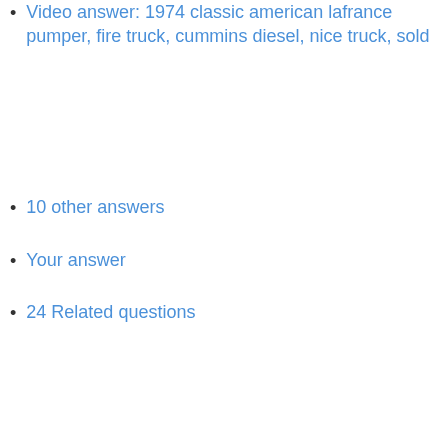Video answer: 1974 classic american lafrance pumper, fire truck, cummins diesel, nice truck, sold
10 other answers
Your answer
24 Related questions